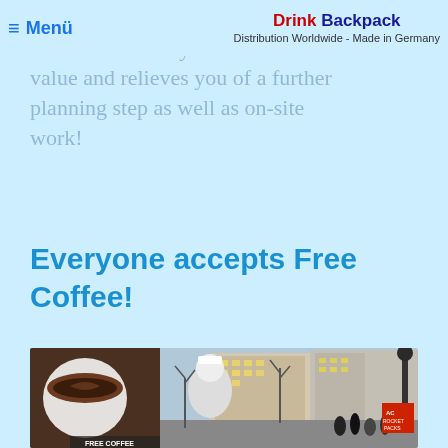≡ Menü | Drink Backpack — Distribution Worldwide - Made in Germany
course for many catering services, but which offers you real value and relieves you of a further planning step as well as on-site work!
Everyone accepts Free Coffee!
[Figure (photo): A man in a white cap and t-shirt distributing free coffee on a busy city street, with a close-up of a coffee cup on the left side and a large commercial building in the background. A sign reading 'FREE COFFEE' is visible at the bottom.]